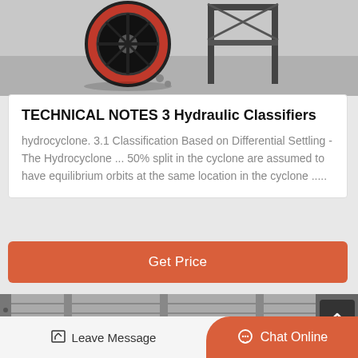[Figure (photo): Photo of industrial machinery — a large orange and black wheel/pulley component on a metal frame on a concrete floor]
TECHNICAL NOTES 3 Hydraulic Classifiers
hydrocyclone. 3.1 Classification Based on Differential Settling - The Hydrocyclone ... 50% split in the cyclone are assumed to have equilibrium orbits at the same location in the cyclone .....
Get Price
[Figure (photo): Black and white photo of a corrugated metal industrial building wall/shed interior with structural steel framing]
Leave Message
Chat Online